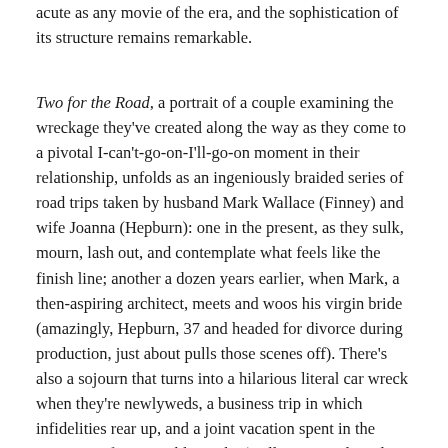acute as any movie of the era, and the sophistication of its structure remains remarkable.
Two for the Road, a portrait of a couple examining the wreckage they've created along the way as they come to a pivotal I-can't-go-on-I'll-go-on moment in their relationship, unfolds as an ingeniously braided series of road trips taken by husband Mark Wallace (Finney) and wife Joanna (Hepburn): one in the present, as they sulk, mourn, lash out, and contemplate what feels like the finish line; another a dozen years earlier, when Mark, a then-aspiring architect, meets and woos his virgin bride (amazingly, Hepburn, 37 and headed for divorce during production, just about pulls those scenes off). There's also a sojourn that turns into a hilarious literal car wreck when they're newlyweds, a business trip in which infidelities rear up, and a joint vacation spent in the company of two terrible Yanks (William Daniels and Eleanor Bron, bringing theater-pro savagery to their caricatures of self-styled modern-minded Americans of